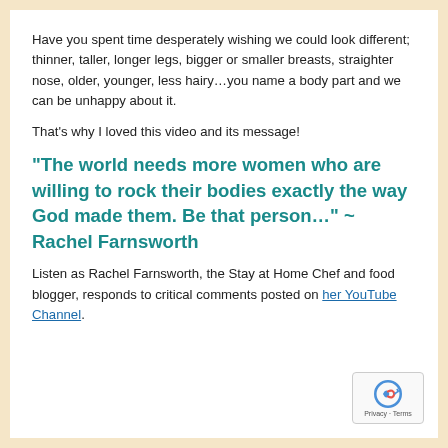Have you spent time desperately wishing we could look different; thinner, taller, longer legs, bigger or smaller breasts, straighter nose, older, younger, less hairy…you name a body part and we can be unhappy about it.
That's why I loved this video and its message!
“The world needs more women who are willing to rock their bodies exactly the way God made them. Be that person…”  ~ Rachel Farnsworth
Listen as Rachel Farnsworth, the Stay at Home Chef and food blogger, responds to critical comments posted on her YouTube Channel.